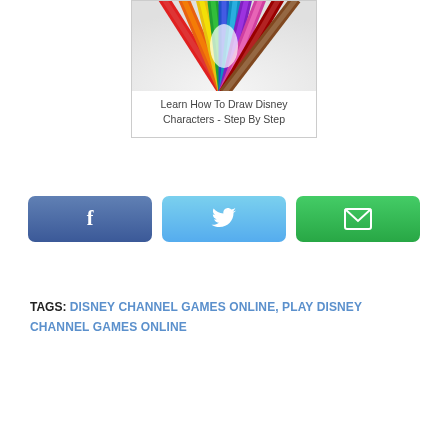[Figure (photo): Colored pencils fanned out, viewed from above, showing tips pointing toward center on white background]
Learn How To Draw Disney Characters - Step By Step
[Figure (infographic): Three social share buttons: Facebook (dark blue with f icon), Twitter (light blue with bird icon), Email (green with envelope icon)]
TAGS: DISNEY CHANNEL GAMES ONLINE, PLAY DISNEY CHANNEL GAMES ONLINE